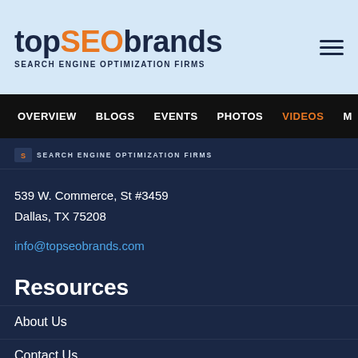[Figure (logo): topSEObrands logo with text 'SEARCH ENGINE OPTIMIZATION FIRMS']
OVERVIEW  BLOGS  EVENTS  PHOTOS  VIDEOS
SEARCH ENGINE OPTIMIZATION FIRMS
539 W. Commerce, St #3459
Dallas, TX 75208
info@topseobrands.com
Resources
About Us
Contact Us
FAQ's
Evaluation Criteria
Blog
For Agencies